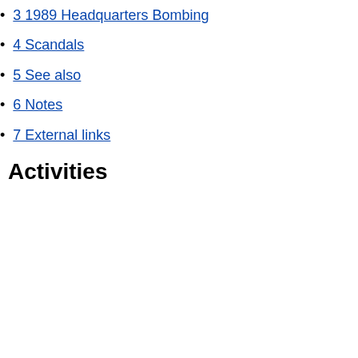3 1989 Headquarters Bombing
4 Scandals
5 See also
6 Notes
7 External links
Activities